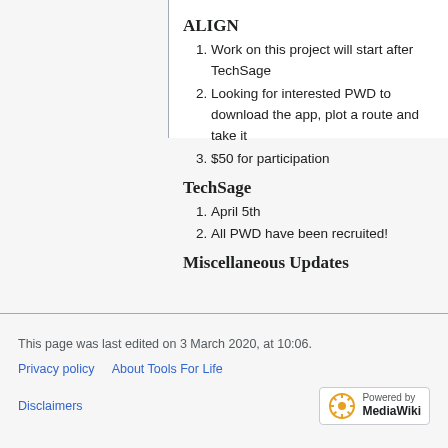ALIGN
Work on this project will start after TechSage
Looking for interested PWD to download the app, plot a route and take it
$50 for participation
TechSage
April 5th
All PWD have been recruited!
Miscellaneous Updates
This page was last edited on 3 March 2020, at 10:06.
Privacy policy   About Tools For Life   Disclaimers